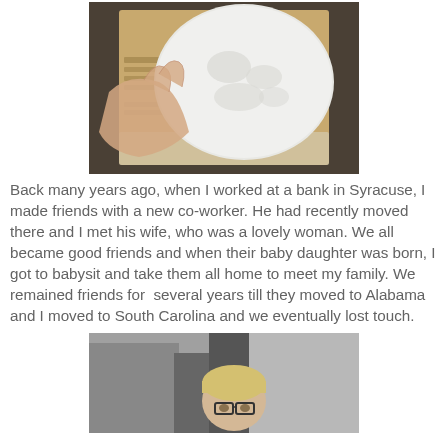[Figure (photo): A hand holding a white plaster/clay cast of a baby's hand and foot impressions, placed on a cardboard backing with printed text, wrapped partially in plastic.]
Back many years ago, when I worked at a bank in Syracuse, I made friends with a new co-worker. He had recently moved there and I met his wife, who was a lovely woman. We all became good friends and when their baby daughter was born, I got to babysit and take them all home to meet my family. We remained friends for  several years till they moved to Alabama and I moved to South Carolina and we eventually lost touch.
[Figure (photo): A young child with blonde hair and glasses, partially visible, photographed indoors.]